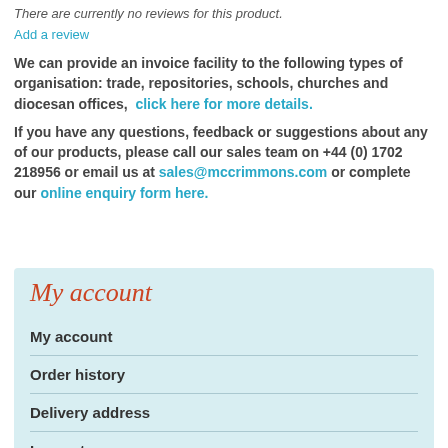There are currently no reviews for this product.
Add a review
We can provide an invoice facility to the following types of organisation: trade, repositories, schools, churches and diocesan offices,  click here for more details.
If you have any questions, feedback or suggestions about any of our products, please call our sales team on +44 (0) 1702 218956 or email us at sales@mccrimmons.com or complete our online enquiry form here.
My account
My account
Order history
Delivery address
Log out